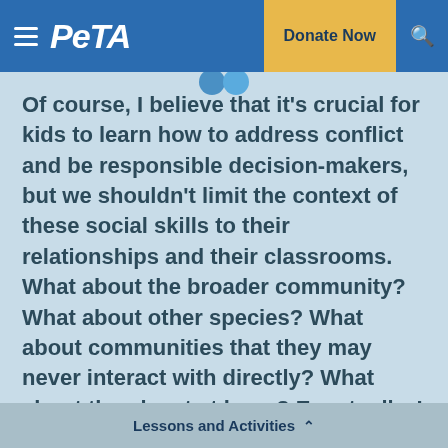PETA — Donate Now
Of course, I believe that it's crucial for kids to learn how to address conflict and be responsible decision-makers, but we shouldn't limit the context of these social skills to their relationships and their classrooms. What about the broader community? What about other species? What about communities that they may never interact with directly? What about the planet at large? Eventually, I realized that SEL [social emotional learning] wasn't the problem … it was that humane education wasn't
Lessons and Activities ∧